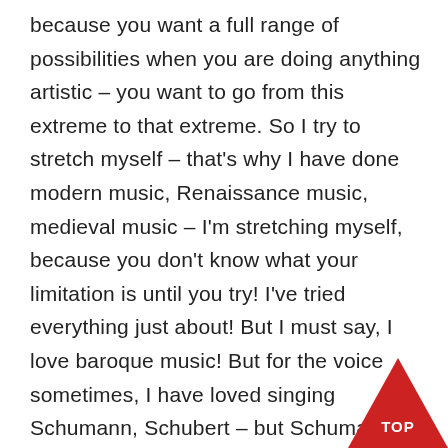because you want a full range of possibilities when you are doing anything artistic – you want to go from this extreme to that extreme. So I try to stretch myself – that's why I have done modern music, Renaissance music, medieval music – I'm stretching myself, because you don't know what your limitation is until you try! I've tried everything just about! But I must say, I love baroque music! But for the voice sometimes, I have loved singing Schumann, Schubert – but Schumann in particular, I just love it! Because it's like the voice can actually ring a bit freer. There is a lot of restraint on the human voice when you are singing early music, it's a bit clinical sometimes, with coloratura –
[Figure (other): Red triangle/arrow pointing up with white text 'TOP' inside, positioned at bottom right corner]